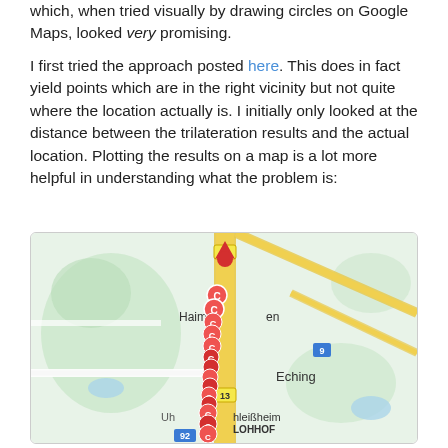which, when tried visually by drawing circles on Google Maps, looked very promising.
I first tried the approach posted here. This does in fact yield points which are in the right vicinity but not quite where the location actually is. I initially only looked at the distance between the trilateration results and the actual location. Plotting the results on a map is a lot more helpful in understanding what the problem is:
[Figure (map): Google Maps screenshot showing a cluster of red circle markers arranged in a vertical line near Haimhausen/Unterschleißheim area (near Munich, Germany). Place labels include Haimhausen, Eching, Unterschleißheim, and LOHHOF. Road labels include 13 (yellow road) and 9 (blue highway marker) and 92. A red location pin is at the top. Multiple red circular C-shaped markers are stacked vertically.]